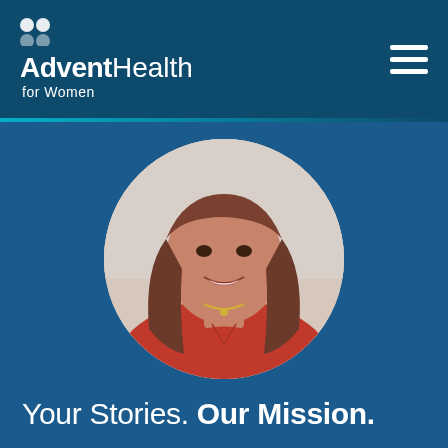[Figure (logo): AdventHealth for Women logo with butterfly/cross icon in white on dark teal header bar]
[Figure (photo): Circular portrait photo of a smiling middle-aged woman with long brown hair wearing a red top and necklace, on a light background]
Your Stories. Our Mission.